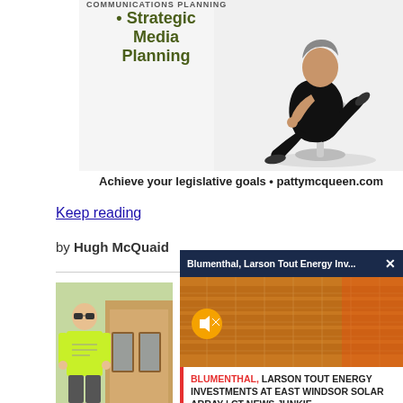[Figure (photo): Advertisement image showing a woman in black outfit seated in a modern chair with text 'Strategic Media Planning' and bullet point]
• Strategic Media Planning
Achieve your legislative goals • pattymcqueen.com
Keep reading
by Hugh McQuaid
[Figure (photo): Photo of a young man wearing sunglasses and a bright yellow-green t-shirt standing near a building entrance]
[Figure (screenshot): Video popup overlay showing solar panels with title 'Blumenthal, Larson Tout Energy Inv...' and caption 'BLUMENTHAL, LARSON TOUT ENERGY INVESTMENTS AT EAST WINDSOR SOLAR ARRAY | CT NEWS JUNKIE']